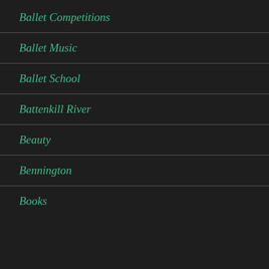Ballet Competitions
Ballet Music
Ballet School
Battenkill River
Beauty
Bennington
Books